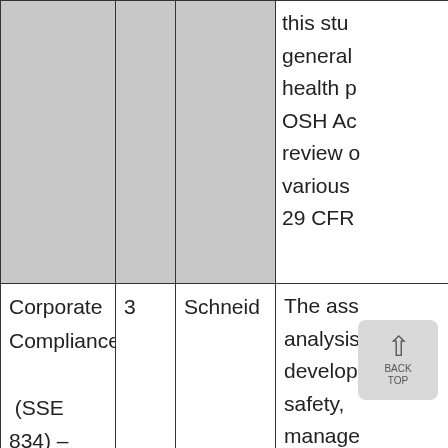| Course | Credits | Author | Description |
| --- | --- | --- | --- |
|  |  |  | this stu... general... health p... OSH Ac... review o... various... 29 CFR... |
| Corporate Compliance (SSE 834) – EKU | 3 | Schneid | The ass... analysis... develop... safety, ... manage... security... environ... |